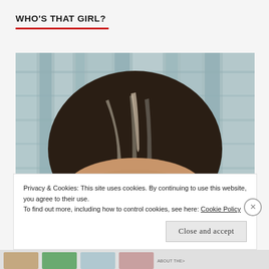WHO'S THAT GIRL?
[Figure (photo): Close-up photo of a young woman with dark hair streaked with highlights, showing the top half of her face including forehead, eyebrows, and eyes. Background is blurred teal/grey building facade.]
Privacy & Cookies: This site uses cookies. By continuing to use this website, you agree to their use.
To find out more, including how to control cookies, see here: Cookie Policy
Close and accept